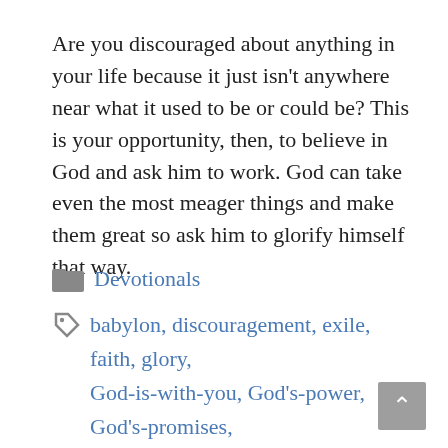Are you discouraged about anything in your life because it just isn't anywhere near what it used to be or could be? This is your opportunity, then, to believe in God and ask him to work. God can take even the most meager things and make them great so ask him to glorify himself that way.
Devotionals
babylon, discouragement, exile, faith, glory, God-is-with-you, God's-power, God's-promises, haggai-2, Jerusalem, money, provision, strength, temple, weakness